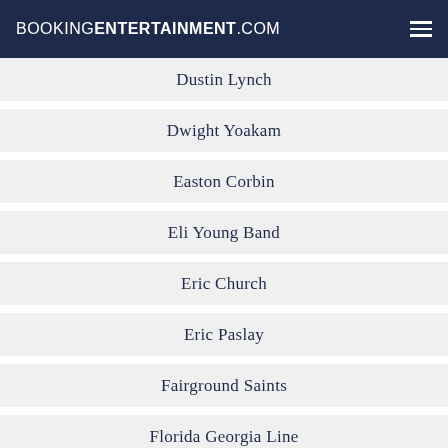BOOKINGENTERTAINMENT.COM
Dustin Lynch
Dwight Yoakam
Easton Corbin
Eli Young Band
Eric Church
Eric Paslay
Fairground Saints
Florida Georgia Line
Frankie Ballard